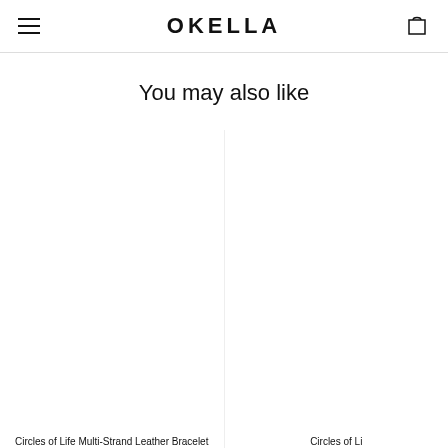OKELLA
You may also like
Circles of Life Multi-Strand Leather Bracelet
Circles of Li